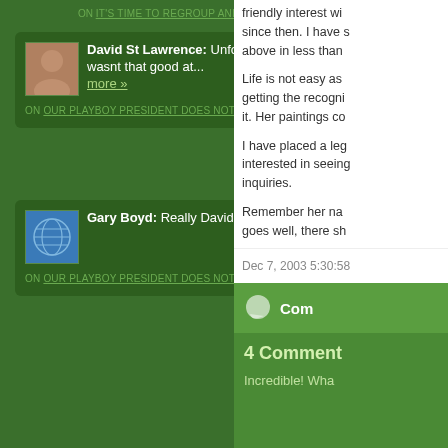ON IT'S TIME TO REGROUP AND MOVE ON
David St Lawrence: Unfortunately for us all. he wasnt that good at... more »
ON OUR PLAYBOY PRESIDENT DOES NOT HANDLE CRISES WELL
Gary Boyd: Really David....... more »
ON OUR PLAYBOY PRESIDENT DOES NOT HANDLE CRISES WELL
friendly interest wi... since then. I have s... above in less than...
Life is not easy as... getting the recogni... it. Her paintings co...
I have placed a leg... interested in seeing... inquiries.
Remember her na... goes well, there sh...
Dec 7, 2003 5:30:58
Com
4 Comment
Incredible! Wha...